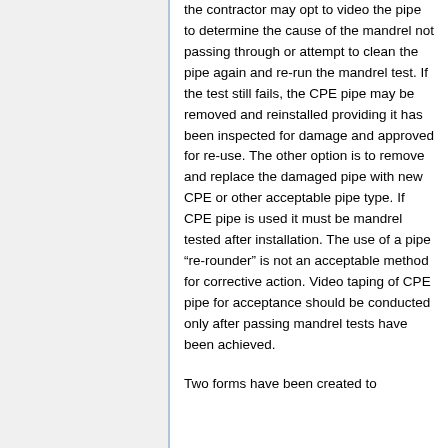the contractor may opt to video the pipe to determine the cause of the mandrel not passing through or attempt to clean the pipe again and re-run the mandrel test. If the test still fails, the CPE pipe may be removed and reinstalled providing it has been inspected for damage and approved for re-use. The other option is to remove and replace the damaged pipe with new CPE or other acceptable pipe type. If CPE pipe is used it must be mandrel tested after installation. The use of a pipe “re-rounder” is not an acceptable method for corrective action. Video taping of CPE pipe for acceptance should be conducted only after passing mandrel tests have been achieved.
Two forms have been created to